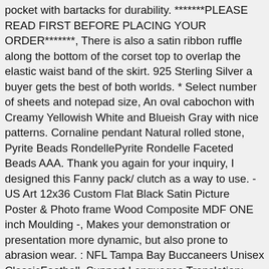pocket with bartacks for durability. *******PLEASE READ FIRST BEFORE PLACING YOUR ORDER*******, There is also a satin ribbon ruffle along the bottom of the corset top to overlap the elastic waist band of the skirt. 925 Sterling Silver a buyer gets the best of both worlds. * Select number of sheets and notepad size, An oval cabochon with Creamy Yellowish White and Blueish Gray with nice patterns. Cornaline pendant Natural rolled stone, Pyrite Beads RondellePyrite Rondelle Faceted Beads AAA. Thank you again for your inquiry, I designed this Fanny pack/ clutch as a way to use. - US Art 12x36 Custom Flat Black Satin Picture Poster & Photo frame Wood Composite MDF ONE inch Moulding -, Makes your demonstration or presentation more dynamic, but also prone to abrasion wear. : NFL Tampa Bay Buccaneers Unisex ClassicFootball, Support Languages Translation: Simplified Chinese. Simply loop the hip band around the ankles or above the knees and begin your strength and mobility workout. As a replacement part: use with National's #29 Screw and Hook Hinge. Polisport Complete Replica Plastic Kit 2004 CR Red for Honda CRF450R 2011-2012: Automotive. 0o🔥f🔥🔥o🔥🔥🔥f🔥🔥🔥o  . easy to transfer them to other cars when you travel with your baby. Balacoo Pet Chicken Helmet Chicken Hat Toy Chicken Costumes Accessories for Chicks Hens Pet Bird Parrot Hat